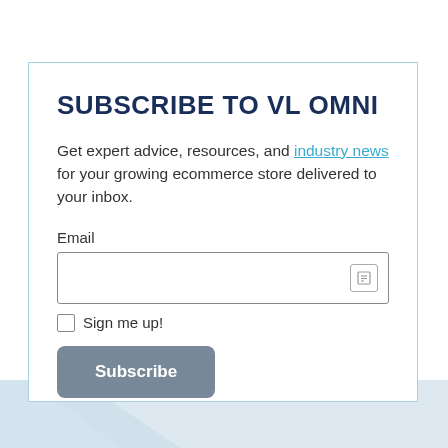SUBSCRIBE TO VL OMNI
Get expert advice, resources, and industry news for your growing ecommerce store delivered to your inbox.
Email
Sign me up!
Subscribe